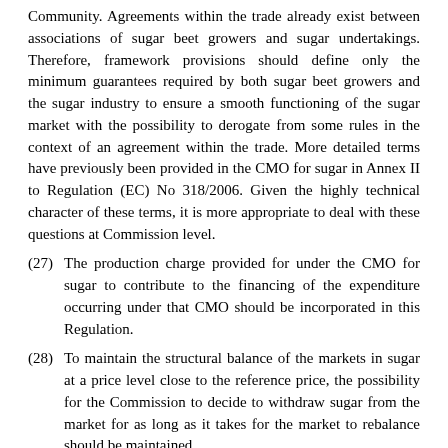Community. Agreements within the trade already exist between associations of sugar beet growers and sugar undertakings. Therefore, framework provisions should define only the minimum guarantees required by both sugar beet growers and the sugar industry to ensure a smooth functioning of the sugar market with the possibility to derogate from some rules in the context of an agreement within the trade. More detailed terms have previously been provided in the CMO for sugar in Annex II to Regulation (EC) No 318/2006. Given the highly technical character of these terms, it is more appropriate to deal with these questions at Commission level.
(27)The production charge provided for under the CMO for sugar to contribute to the financing of the expenditure occurring under that CMO should be incorporated in this Regulation.
(28)To maintain the structural balance of the markets in sugar at a price level close to the reference price, the possibility for the Commission to decide to withdraw sugar from the market for as long as it takes for the market to rebalance should be maintained.
(29)The CMOs for live plants, beef and veal, pigmeat, sheepmeat and goatmeat, eggs and poultrymeat provided